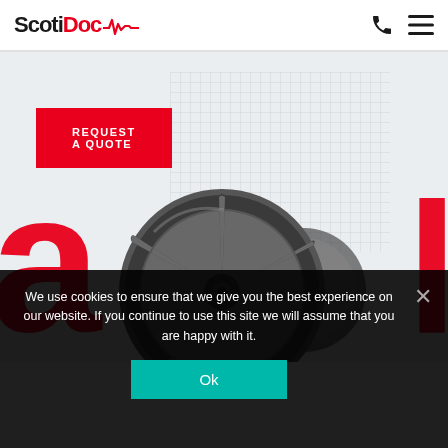ScotiDoc [logo with ECG line]
REQUEST A QUOTE
[Figure (photo): Dark gray alloy car wheels/rims displayed against a light gray background with a mesh/grid pattern behind them. Large red letters partially visible behind the wheels.]
We use cookies to ensure that we give you the best experience on our website. If you continue to use this site we will assume that you are happy with it.
Ok